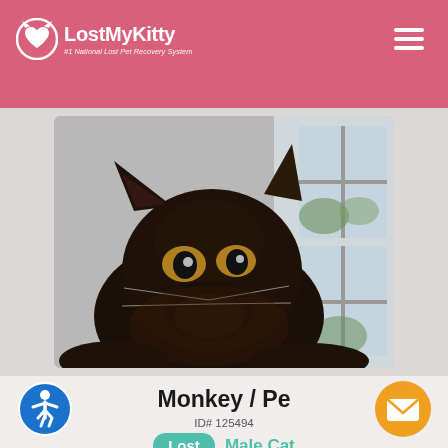LostMyKitty — #1 National Lost Pet Recovery System
[Figure (photo): Close-up photo of a black cat sitting near a window, looking toward the camera with golden eyes. The background shows window frames with outdoor greenery.]
Monkey / Pe
ID# 125494
Lost  Male Cat
LONG BEACH, CA 90815